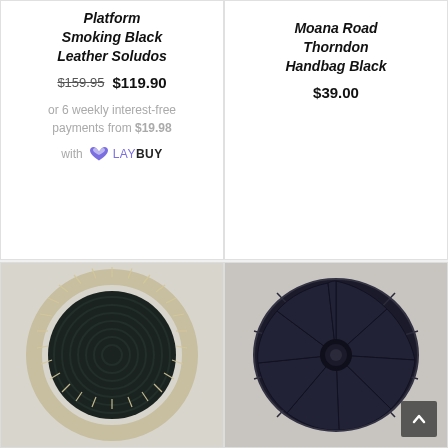Platform Smoking Black Leather Soludos
$159.95  $119.90
or 6 weekly interest-free payments from $19.98 with LAYBUY
Moana Road Thorndon Handbag Black
$39.00
[Figure (photo): Round dark green/black crocheted or woven disc with cream/off-white fringe border, viewed from above]
[Figure (photo): Round black leather pouf/ottoman with segmented panels and central button, viewed from above]